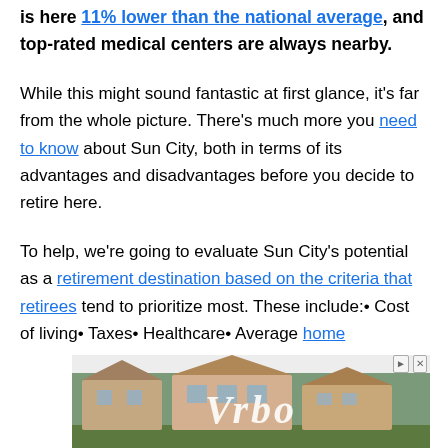is here 11% lower than the national average, and top-rated medical centers are always nearby.
While this might sound fantastic at first glance, it's far from the whole picture. There's much more you need to know about Sun City, both in terms of its advantages and disadvantages before you decide to retire here.
To help, we're going to evaluate Sun City's potential as a retirement destination based on the criteria that retirees tend to prioritize most. These include:• Cost of living• Taxes• Healthcare• Average home
[Figure (photo): Advertisement banner with Vrbo logo overlaid on a blurred photo of a house. Shows navigation arrow and close (X) icons at top right.]